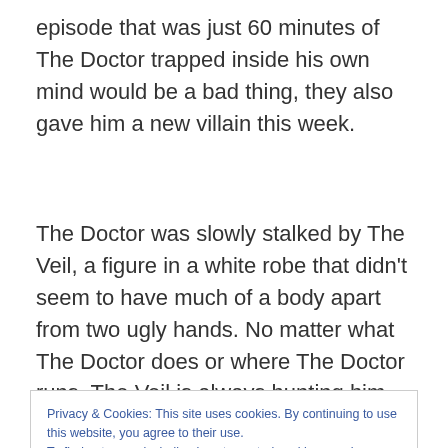episode that was just 60 minutes of The Doctor trapped inside his own mind would be a bad thing, they also gave him a new villain this week.
The Doctor was slowly stalked by The Veil, a figure in a white robe that didn't seem to have much of a body apart from two ugly hands. No matter what The Doctor does or where The Doctor runs, The Veil is always hunting him,
Privacy & Cookies: This site uses cookies. By continuing to use this website, you agree to their use.
To find out more, including how to control cookies, see here: Cookie Policy
but his mind. In his mind's eye, he's in the TARDIS